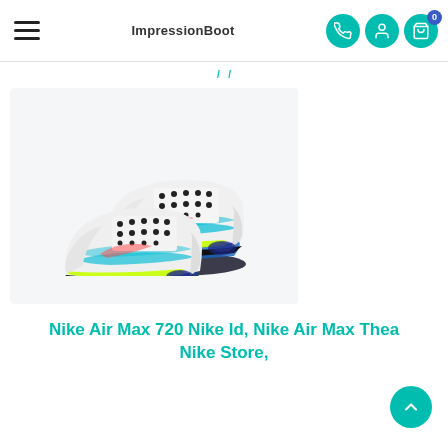ImpressionBoot
[Figure (photo): Nike Air Max 97 sneakers shown from a side-angle view. White base with teal/blue, neon green, and coral accents. Black laces and dark midsole with Air cushioning visible.]
Nike Air Max 720 Nike Id, Nike Air Max Thea Nike Store,